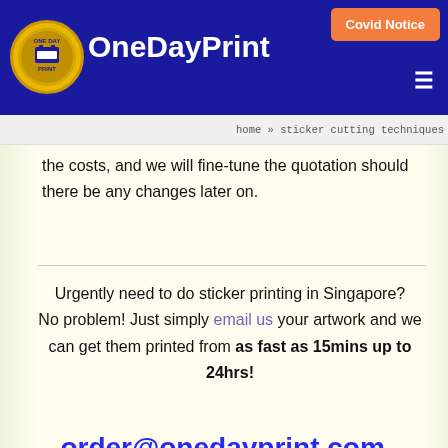OneDayPrint — Covid Notice — home » sticker cutting techniques
the costs, and we will fine-tune the quotation should there be any changes later on.
Urgently need to do sticker printing in Singapore? No problem! Just simply email us your artwork and we can get them printed from as fast as 15mins up to 24hrs!
order@onedayprint.com.sg